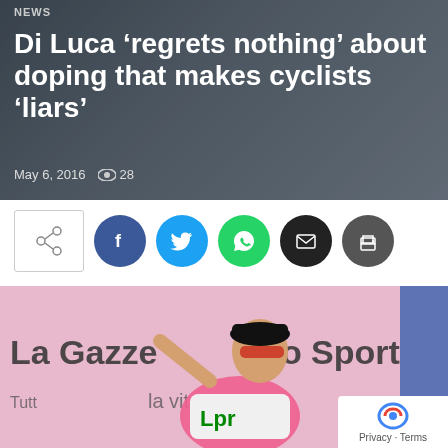NEWS
Di Luca ‘regrets nothing’ about doping that makes cyclists ‘liars’
May 6, 2016   28
[Figure (infographic): Social sharing bar with share icon button and circular social media buttons: Facebook (blue), Twitter (cyan), WhatsApp (green), Email (black), Print (dark grey)]
[Figure (photo): Cyclist Danilo Di Luca wearing a pink jersey with LPR Brakes team logo, gesturing with fingers, in front of a La Gazzetta dello Sport banner background]